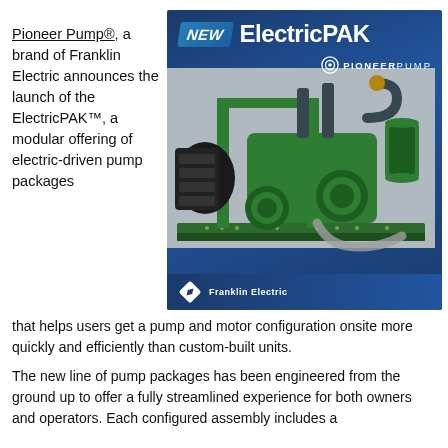[Figure (photo): Advertisement image for ElectricPAK by Pioneer Pump showing a green electric-driven pump package on a skid frame with 'NEW ElectricPAK' header on dark blue background with Pioneer Pump logo]
Pioneer Pump®, a brand of Franklin Electric announces the launch of the ElectricPAK™, a modular offering of electric-driven pump packages that helps users get a pump and motor configuration onsite more quickly and efficiently than custom-built units.
The new line of pump packages has been engineered from the ground up to offer a fully streamlined experience for both owners and operators. Each configured assembly includes a